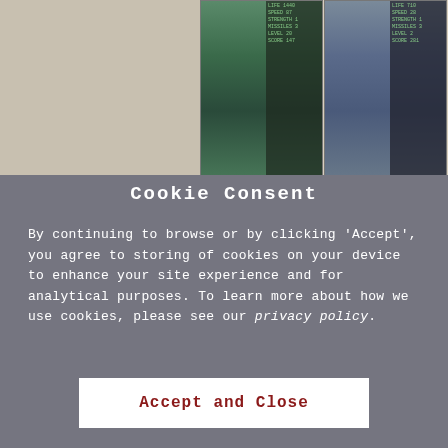[Figure (screenshot): Partial scanned magazine/book page showing two game screenshots with stats panels and text columns below them describing a fantasy castle game storyline.]
Generations ago an enchanted Star Gem crashed to Earth at the base of an ancient castle. Loathsome creatures crept from the castle and carried the Gem into the depths of the fortress.
The creatures in the castle gain magical strength from the Star Gem. Unless the Gem is taken from them, the evil ones will soon have the strength to venture forth and destroy mankind.
Cookie Consent
By continuing to browse or by clicking 'Accept', you agree to storing of cookies on your device to enhance your site experience and for analytical purposes. To learn more about how we use cookies, please see our privacy policy.
Accept and Close